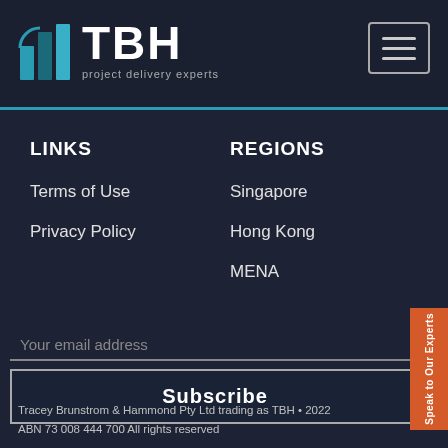TBH project delivery experts
LINKS
Terms of Use
Privacy Policy
REGIONS
Singapore
Hong Kong
MENA
Your email address
Subscribe
Tracey Brunstrom & Hammond Pty Ltd trading as TBH • 2022 ABN 73 008 444 700 All rights reserved